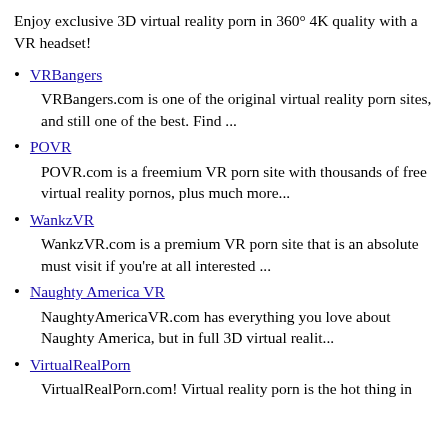Enjoy exclusive 3D virtual reality porn in 360° 4K quality with a VR headset!
VRBangers — VRBangers.com is one of the original virtual reality porn sites, and still one of the best. Find ...
POVR — POVR.com is a freemium VR porn site with thousands of free virtual reality pornos, plus much more...
WankzVR — WankzVR.com is a premium VR porn site that is an absolute must visit if you're at all interested ...
Naughty America VR — NaughtyAmericaVR.com has everything you love about Naughty America, but in full 3D virtual realit...
VirtualRealPorn — VirtualRealPorn.com! Virtual reality porn is the hot thing in